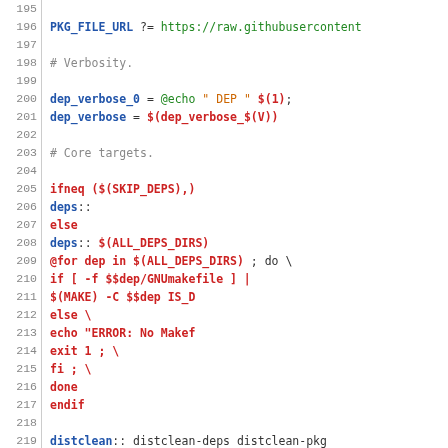Source code snippet from a Makefile showing lines 195-224, including PKG_FILE_URL assignment, verbosity settings, core targets with ifneq/else/endif conditionals for deps, distclean target, and comments about deps related targets.